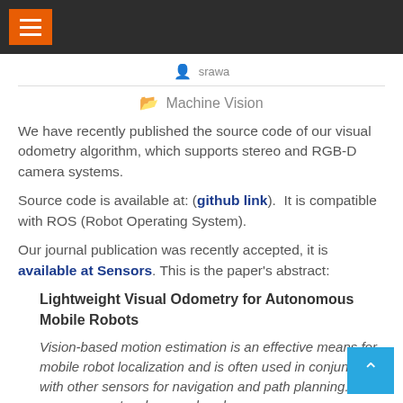srawa
Machine Vision
We have recently published the source code of our visual odometry algorithm, which supports stereo and RGB-D camera systems.
Source code is available at: (github link).  It is compatible with ROS (Robot Operating System).
Our journal publication was recently accepted, it is available at Sensors. This is the paper's abstract:
Lightweight Visual Odometry for Autonomous Mobile Robots
Vision-based motion estimation is an effective means for mobile robot localization and is often used in conjunction with other sensors for navigation and path planning. This paper presents a low-overhead